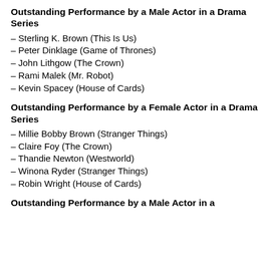Outstanding Performance by a Male Actor in a Drama Series
– Sterling K. Brown (This Is Us)
– Peter Dinklage (Game of Thrones)
– John Lithgow (The Crown)
– Rami Malek (Mr. Robot)
– Kevin Spacey (House of Cards)
Outstanding Performance by a Female Actor in a Drama Series
– Millie Bobby Brown (Stranger Things)
– Claire Foy (The Crown)
– Thandie Newton (Westworld)
– Winona Ryder (Stranger Things)
– Robin Wright (House of Cards)
Outstanding Performance by a Male Actor in a